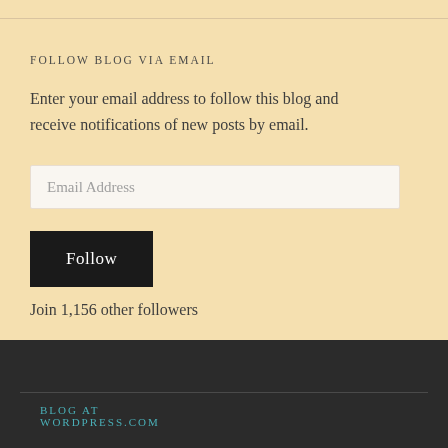FOLLOW BLOG VIA EMAIL
Enter your email address to follow this blog and receive notifications of new posts by email.
Email Address
Follow
Join 1,156 other followers
BLOG AT WORDPRESS.COM